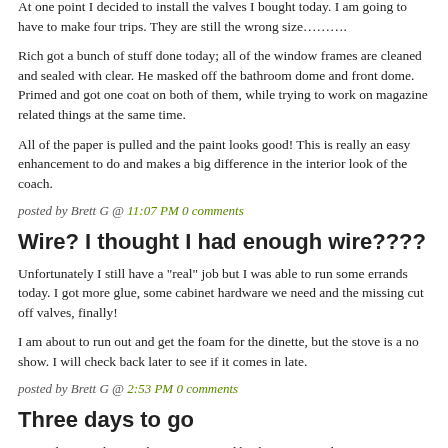out and do something else while the fantastic fans did their thing. We also started on the cushion disassembly.
At one point I decided to install the valves I bought today. I am going to have to make four trips. They are still the wrong size……….
Rich got a bunch of stuff done today; all of the window frames are cleaned and sealed with clear. He masked off the bathroom dome and front dome. Primed and got one coat on both of them, while trying to work on magazine related things at the same time.
All of the paper is pulled and the paint looks good! This is really an easy enhancement to do and makes a big difference in the interior look of the coach.
posted by Brett G @ 11:07 PM 0 comments
Wire? I thought I had enough wire????
Unfortunately I still have a "real" job but I was able to run some errands today. I got more glue, some cabinet hardware we need and the missing cut off valves, finally!
I am about to run out and get the foam for the dinette, but the stove is a no show. I will check back later to see if it comes in late.
posted by Brett G @ 2:53 PM 0 comments
Three days to go
We're down to the wire here. I've moved back into Brett's house so we can work every spare minute. Last night, as you can see from Brett's post time,